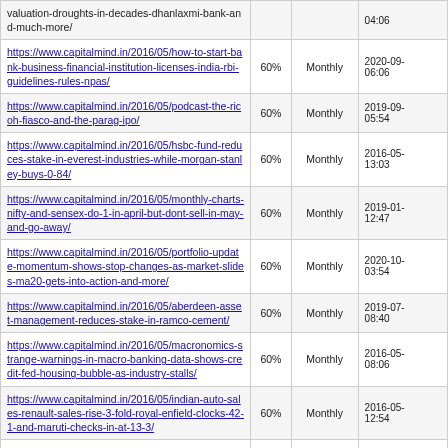| URL | Priority | Change Frequency | Last Modified |
| --- | --- | --- | --- |
| valuation-droughts-in-decades-dhanlaxmi-bank-and-much-more/ |  |  | 04:06 |
| https://www.capitalmind.in/2016/05/how-to-start-bank-business-financial-institution-licenses-india-rbi-guidelines-rules-npas/ | 60% | Monthly | 2020-09-06:06 |
| https://www.capitalmind.in/2016/05/podcast-the-ricoh-fiasco-and-the-parag-ipo/ | 60% | Monthly | 2019-09-05:54 |
| https://www.capitalmind.in/2016/05/hsbc-fund-reduces-stake-in-everest-industries-while-morgan-stanley-buys-0-84/ | 60% | Monthly | 2016-05-13:03 |
| https://www.capitalmind.in/2016/05/monthly-charts-nifty-and-sensex-do-1-in-april-but-dont-sell-in-may-and-go-away/ | 60% | Monthly | 2019-01-12:47 |
| https://www.capitalmind.in/2016/05/portfolio-update-momentum-shows-stop-changes-as-market-slides-ma20-gets-into-action-and-more/ | 60% | Monthly | 2020-10-03:54 |
| https://www.capitalmind.in/2016/05/aberdeen-asset-management-reduces-stake-in-ramco-cement/ | 60% | Monthly | 2019-07-08:40 |
| https://www.capitalmind.in/2016/05/macronomics-strange-warnings-in-macro-banking-data-shows-credit-fed-housing-bubble-as-industry-stalls/ | 60% | Monthly | 2016-05-08:06 |
| https://www.capitalmind.in/2016/05/indian-auto-sales-renault-sales-rise-3-fold-royal-enfield-clocks-42-1-and-maruti-checks-in-at-13-3/ | 60% | Monthly | 2016-05-12:54 |
| https://www.capitalmind.in/2016/05/on-slack-yes-bank-npa-battle-vodafone-ipo-chinas-housing-bubble-10-reservation-facebook-friends-related- | 60% | Monthly | 2022-01-04:21 |